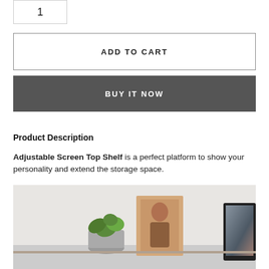[Figure (other): Quantity input box showing '1']
ADD TO CART
BUY IT NOW
Product Description
Adjustable Screen Top Shelf is a perfect platform to show your personality and extend the storage space.
[Figure (photo): Photo of a desk shelf with a potted plant, a framed portrait photo of a woman, and a monitor on the right edge]